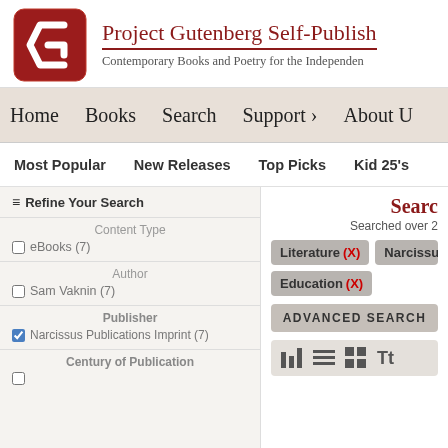[Figure (logo): Project Gutenberg Self-Publishing logo: red rounded square with white G-like arrow mark]
Project Gutenberg Self-Publish
Contemporary Books and Poetry for the Independen
Home  Books  Search  Support >  About U
Most Popular  New Releases  Top Picks  Kid 25's
Searc
Searched over 2
≡ Refine Your Search
Content Type
eBooks (7)
Author
Sam Vaknin (7)
Publisher
Narcissus Publications Imprint (7)
Century of Publication
Literature (X)
Narcissus P
Education (X)
ADVANCED SEARCH